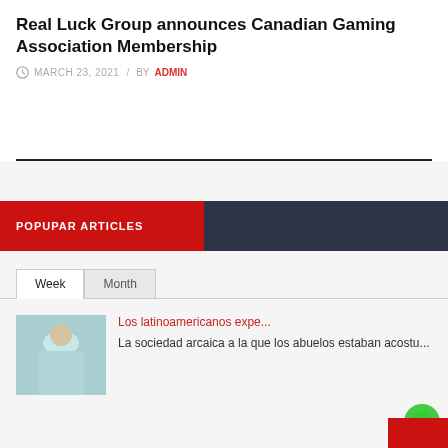Real Luck Group announces Canadian Gaming Association Membership
MARCH 23, 2021 / BY ADMIN
POPUPAR ARTICLES
Week | Month
Los latinoamericanos expe...
La sociedad arcaica a la que los abuelos estaban acostu...